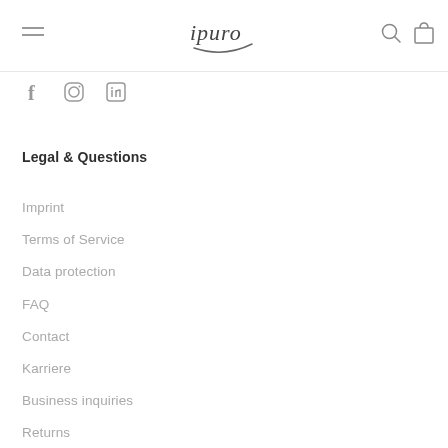ipuro — navigation header with hamburger menu, logo, search icon, cart icon
[Figure (logo): ipuro brand logo in black cursive text with swoosh underline]
[Figure (infographic): Social media icons: Facebook, Instagram, LinkedIn]
Legal & Questions
Imprint
Terms of Service
Data protection
FAQ
Contact
Karriere
Business inquiries
Returns
Payment & Delivery (partially visible)